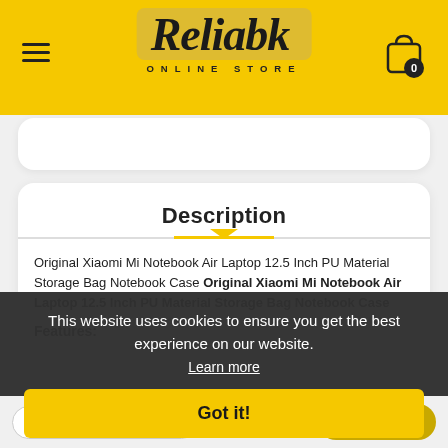[Figure (logo): Reliable Online Store logo with yellow brush stroke background, hamburger menu icon on left, shopping cart icon on right]
Description
Original Xiaomi Mi Notebook Air Laptop 12.5 Inch PU Material Storage Bag Notebook Case Original Xiaomi Mi Notebook Air Laptop 12.5 Inch PU Material Storage Bag Notebook Case
Features:
This website uses cookies to ensure you get the best experience on our website.
Learn more
Got it!
Black - R 973.99
Add to cart